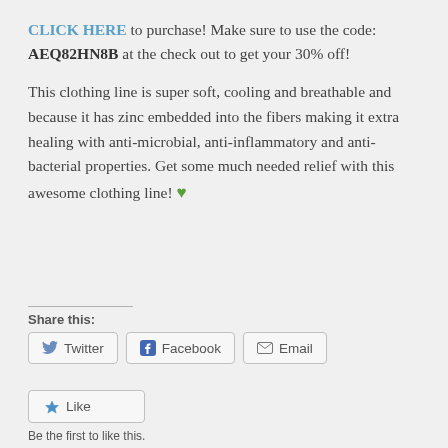CLICK HERE to purchase! Make sure to use the code: AEQ82HN8B at the check out to get your 30% off!
This clothing line is super soft, cooling and breathable and because it has zinc embedded into the fibers making it extra healing with anti-microbial, anti-inflammatory and anti-bacterial properties. Get some much needed relief with this awesome clothing line! 💚
Share this:
Twitter  Facebook  Email
Like
Be the first to like this.